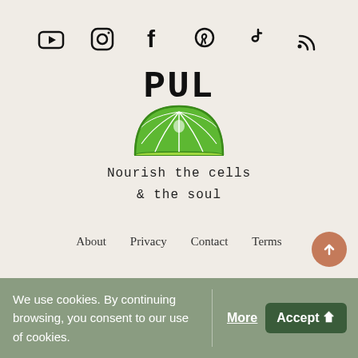[Figure (infographic): Row of 6 social media icons: YouTube, Instagram, Facebook, Pinterest, TikTok, RSS feed]
[Figure (logo): PUL logo with hand-drawn text 'PUL' above a green lime/citrus half slice SVG illustration]
Nourish the cells
& the soul
About   Privacy   Contact   Terms
We use cookies. By continuing browsing, you consent to our use of cookies.
More
Accept 🍋